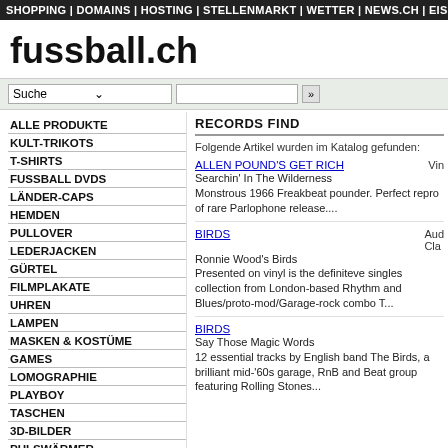SHOPPING | DOMAINS | HOSTING | STELLENMARKT | WETTER | NEWS.CH | EISH
fussball.ch
Suche »
RECORDS FIND
Folgende Artikel wurden im Katalog gefunden:
ALLE PRODUKTE
KULT-TRIKOTS
T-SHIRTS
FUSSBALL DVDS
LÄNDER-CAPS
HEMDEN
PULLOVER
LEDERJACKEN
GÜRTEL
FILMPLAKATE
UHREN
LAMPEN
MASKEN & KOSTÜME
GAMES
LOMOGRAPHIE
PLAYBOY
TASCHEN
3D-BILDER
PULSWÄRMER
KITSCHI & TOYS
ALLEN POUND'S GET RICH
Searchin' In The Wilderness
Monstrous 1966 Freakbeat pounder. Perfect repro of rare Parlophone release....
BIRDS
Ronnie Wood's Birds
Presented on vinyl is the definiteve singles collection from London-based Rhythm and Blues/proto-mod/Garage-rock combo T...
BIRDS
Say Those Magic Words
12 essential tracks by English band The Birds, a brilliant mid-'60s garage, RnB and Beat group featuring Rolling Stones...